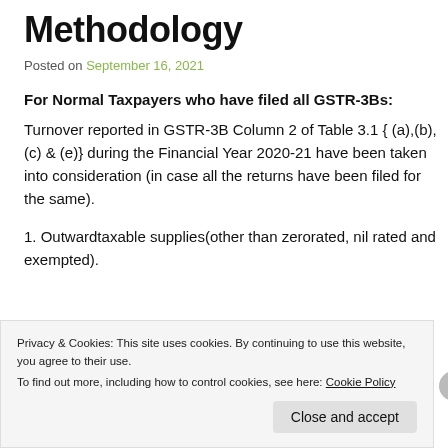Methodology
Posted on September 16, 2021
For Normal Taxpayers who have filed all GSTR-3Bs:
Turnover reported in GSTR-3B Column 2 of Table 3.1 { (a),(b),(c) & (e)} during the Financial Year 2020-21 have been taken into consideration (in case all the returns have been filed for the same).
1. Outwardtaxable supplies(other than zerorated, nil rated and exempted).
Privacy & Cookies: This site uses cookies. By continuing to use this website, you agree to their use. To find out more, including how to control cookies, see here: Cookie Policy